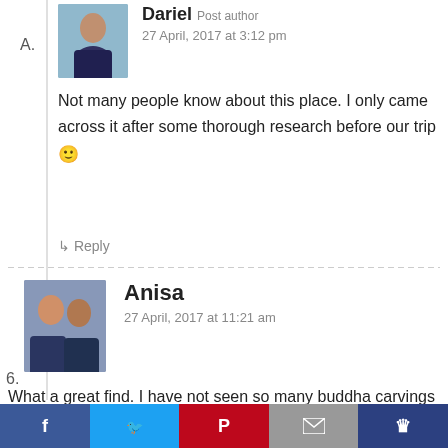Dariel Post author
27 April, 2017 at 3:12 pm
Not many people know about this place. I only came across it after some thorough research before our trip 🙂
↳ Reply
6. Anisa
27 April, 2017 at 11:21 am
What a great find. I have not seen so many buddha carvings like that. I would love to see it in person to check out the details. I pinned it for later.
↳ Reply
Dariel Post author
27 April, 2017 at 3:13 pm